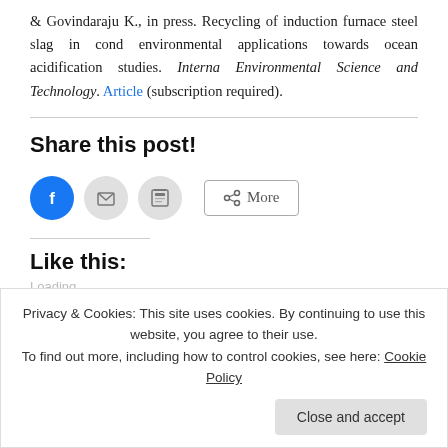& Govindaraju K., in press. Recycling of induction furnace steel slag in cond environmental applications towards ocean acidification studies. International Environmental Science and Technology. Article (subscription required).
Share this post!
[Figure (other): Social share buttons: Facebook (blue circle), Email (gray circle), Print (gray circle), and a More button with share icon]
Like this:
Privacy & Cookies: This site uses cookies. By continuing to use this website, you agree to their use. To find out more, including how to control cookies, see here: Cookie Policy
Close and accept